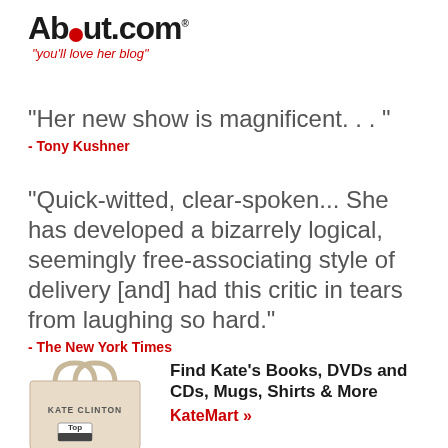[Figure (logo): About.com logo with red circle replacing the 'o', tagline: "you'll love her blog"]
"Her new show is magnificent. . . "
- Tony Kushner
"Quick-witted, clear-spoken... She has developed a bizarrely logical, seemingly free-associating style of delivery [and] had this critic in tears from laughing so hard."
- The New York Times
[Figure (photo): Tote bag with KATE CLINTON printed on it and a Top label]
Find Kate's Books, DVDs and CDs, Mugs, Shirts & More
KateMart »